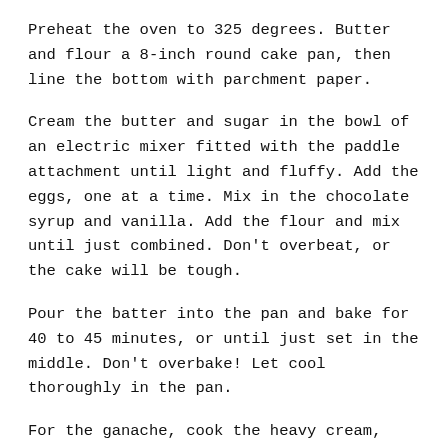Preheat the oven to 325 degrees. Butter and flour a 8-inch round cake pan, then line the bottom with parchment paper.
Cream the butter and sugar in the bowl of an electric mixer fitted with the paddle attachment until light and fluffy. Add the eggs, one at a time. Mix in the chocolate syrup and vanilla. Add the flour and mix until just combined. Don't overbeat, or the cake will be tough.
Pour the batter into the pan and bake for 40 to 45 minutes, or until just set in the middle. Don't overbake! Let cool thoroughly in the pan.
For the ganache, cook the heavy cream, chocolate chips, and instant coffee in the top of a double boiler over simmering water until smooth and warm, stirring occasionally.